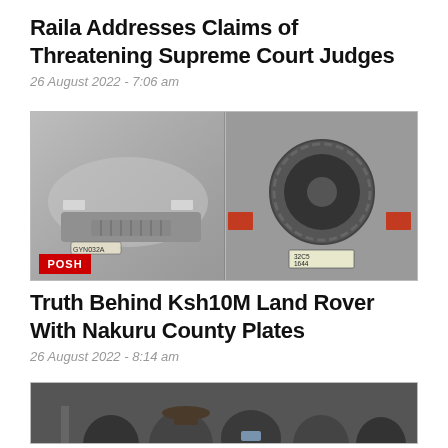[Figure (photo): Cropped top image strip showing a news article photo at the very top of the page]
Raila Addresses Claims of Threatening Supreme Court Judges
26 August 2022 - 7:06 am
[Figure (photo): Two side-by-side photos of Land Rover vehicles with a red POSH badge overlay on the left image and a number plate visible on the right]
Truth Behind Ksh10M Land Rover With Nakuru County Plates
26 August 2022 - 8:14 am
[Figure (photo): Cropped bottom photo showing a crowd of people outdoors]